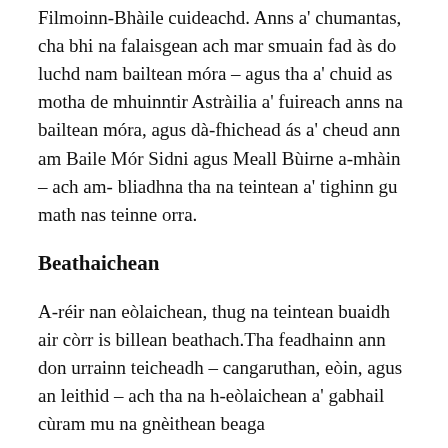Filmoinn-Bhàile cuideachd. Anns a' chumantas, cha bhi na falaisgean ach mar smuain fad às do luchd nam bailtean móra – agus tha a' chuid as motha de mhuinntir Astràilia a' fuireach anns na bailtean móra, agus dà-fhichead ás a' cheud ann am Baile Mór Sidni agus Meall Bùirne a-mhàin – ach am-bliadhna tha na teintean a' tighinn gu math nas teinne orra.
Beathaichean
A-réir nan eòlaichean, thug na teintean buaidh air còrr is billean beathach.Tha feadhainn ann don urrainn teicheadh – cangaruthan, eòin, agus an leithid – ach tha na h-eòlaichean a' gabhail cùram mu na gnèithean beaga